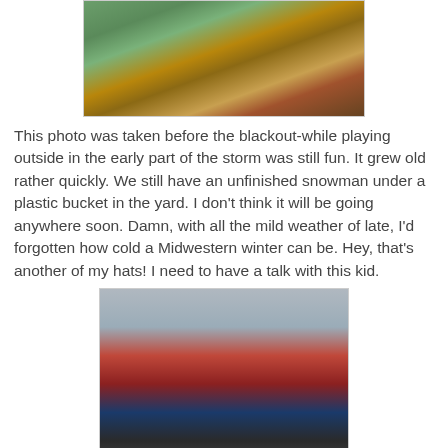[Figure (photo): Partial photo of a table with green items and colorful tablecloth, cut off at top of page]
This photo was taken before the blackout-while playing outside in the early part of the storm was still fun. It grew old rather quickly. We still have an unfinished snowman under a plastic bucket in the yard. I don't think it will be going anywhere soon. Damn, with all the mild weather of late, I'd forgotten how cold a Midwestern winter can be. Hey, that's another of my hats! I need to have a talk with this kid.
[Figure (photo): Child standing outside in snow, wearing a red jacket, black winter hat, and striped shirt, smiling with arms spread wide]
I ended up re-making the cakes at Christmas, as Danny felt